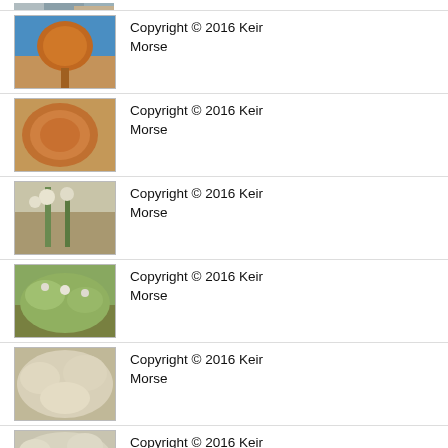[Figure (photo): Partial photo of plant/flower at top of page, cropped]
[Figure (photo): Orange round flower head on stem against blue sky]
Copyright © 2016 Keir Morse
[Figure (photo): Close-up of orange/rust colored round flower cluster]
Copyright © 2016 Keir Morse
[Figure (photo): White small flowers on green stems in field]
Copyright © 2016 Keir Morse
[Figure (photo): Bushy green plant with small white flowers]
Copyright © 2016 Keir Morse
[Figure (photo): Close-up of white/cream fluffy flower clusters]
Copyright © 2016 Keir Morse
[Figure (photo): White flower clusters, partial view at bottom]
Copyright © 2016 Keir Morse